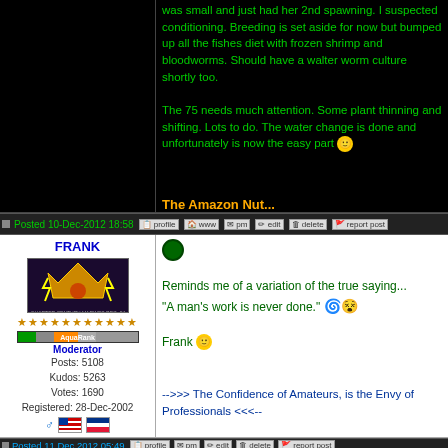was small and just had her 2nd spawning. I suspected conditioning. Breeding is set aside for now but bumped up all the fishes diet with frozen shrimp and bloodworms. Should have a walter worm culture shortly too.

The 75 needs much attention. Some plant thinning and shifting. Lots to do. The water change is done and unfortunately is now the easy part :)

The Amazon Nut...
Posted 10-Dec-2012 18:58
FRANK
Moderator
Posts: 5108
Kudos: 5263
Votes: 1690
Registered: 28-Dec-2002
Reminds me of a variation of the true saying...
"A man's work is never done."

Frank

-->>> The Confidence of Amateurs, is the Envy of Professionals <<<--
Posted 11 Dec 2012 05:49